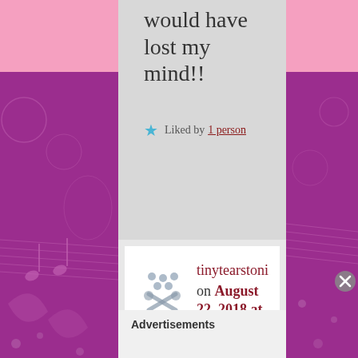would have lost my mind!!
★ Liked by 1 person
tinytearstoni on August 22, 2018 at 8:24 pm said:
Advertisements